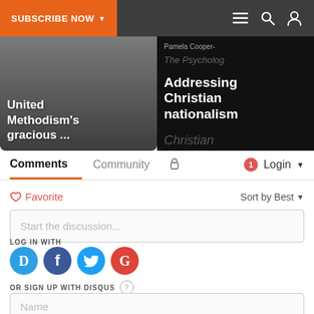SUBSCRIBE NOW | navigation icons
[Figure (screenshot): Two article thumbnails: left shows 'United Methodism's gracious ...' on gray background, right shows 'Addressing Christian nationalism' on black background with book cover]
Comments  Community  🔒  1  Login ▾
♡ Favorite   Sort by Best ▾
Start the discussion...
LOG IN WITH
[Figure (infographic): Social login buttons: Disqus (D), Facebook (f), Twitter bird, Google (G)]
OR SIGN UP WITH DISQUS ?
Name